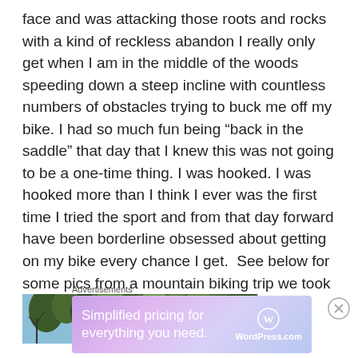face and was attacking those roots and rocks with a kind of reckless abandon I really only get when I am in the middle of the woods speeding down a steep incline with countless numbers of obstacles trying to buck me off my bike. I had so much fun being “back in the saddle” that day that I knew this was not going to be a one-time thing. I was hooked. I was hooked more than I think I ever was the first time I tried the sport and from that day forward have been borderline obsessed about getting on my bike every chance I get.  See below for some pics from a mountain biking trip we took over the weekend…
[Figure (photo): A horizontal strip photo showing trees with bare and leafy branches against a blue sky, taken from below, typical of a forest trail scene.]
Advertisements
[Figure (screenshot): WordPress.com advertisement banner with purple/blue gradient background. Text reads: Simplified pricing for everything you need. WordPress.com logo on the right.]